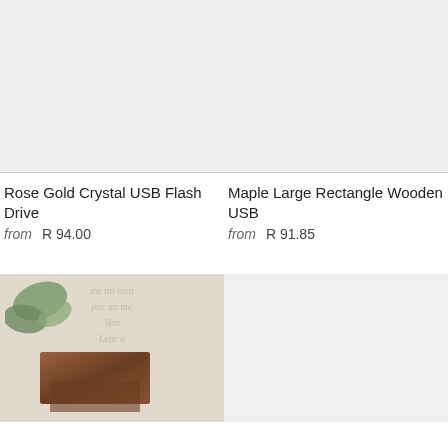[Figure (photo): Light gray placeholder image for Rose Gold Crystal USB Flash Drive product]
[Figure (photo): Light gray placeholder image for Maple Large Rectangle Wooden USB product]
Rose Gold Crystal USB Flash Drive
from  R 94.00
Maple Large Rectangle Wooden USB
from  R 91.85
[Figure (photo): Photo of dark walnut wooden USB flash drives on a white surface with script writing and eucalyptus leaves]
[Figure (photo): Light gray placeholder image for a fourth product]